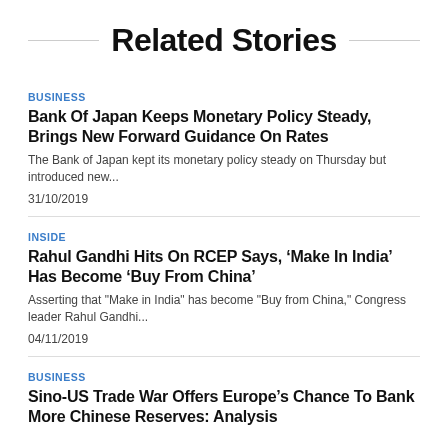Related Stories
BUSINESS
Bank Of Japan Keeps Monetary Policy Steady, Brings New Forward Guidance On Rates
The Bank of Japan kept its monetary policy steady on Thursday but introduced new...
31/10/2019
INSIDE
Rahul Gandhi Hits On RCEP Says, ‘Make In India’ Has Become ‘Buy From China’
Asserting that "Make in India" has become "Buy from China," Congress leader Rahul Gandhi...
04/11/2019
BUSINESS
Sino-US Trade War Offers Europe’s Chance To Bank More Chinese Reserves: Analysis